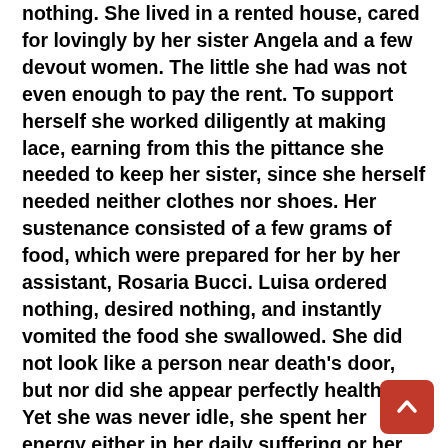nothing. She lived in a rented house, cared for lovingly by her sister Angela and a few devout women. The little she had was not even enough to pay the rent. To support herself she worked diligently at making lace, earning from this the pittance she needed to keep her sister, since she herself needed neither clothes nor shoes. Her sustenance consisted of a few grams of food, which were prepared for her by her assistant, Rosaria Bucci. Luisa ordered nothing, desired nothing, and instantly vomited the food she swallowed. She did not look like a person near death's door, but nor did she appear perfectly healthy. Yet she was never idle, she spent her energy either in her daily suffering or her work, and her life, for those who knew her well, was considered a continuous miracle.
Her detachment from any payments that did not come from her daily work was marvelous! She firmly refused money and the various presents offered to her on any pretext. She was as prompt to do so for the obligations of